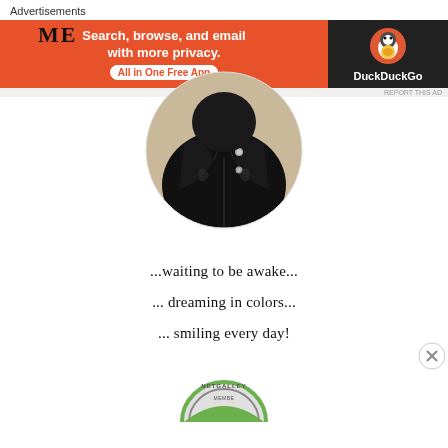ME
[Figure (photo): Circular cropped profile photo showing a person wearing a black leather jacket, viewed from behind/side angle against a beige background]
...waiting to be awake...
... dreaming in colors...
... smiling every day!
[Figure (logo): NetGalley Member badge - circular badge with green and grey colors]
Advertisements
[Figure (screenshot): DuckDuckGo advertisement banner: 'Search, browse, and email with more privacy. All in One Free App' with DuckDuckGo logo on dark background]